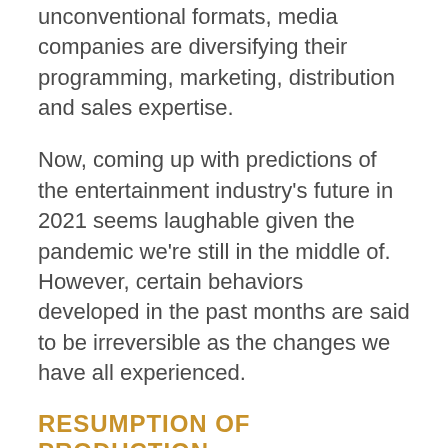unconventional formats, media companies are diversifying their programming, marketing, distribution and sales expertise.
Now, coming up with predictions of the entertainment industry's future in 2021 seems laughable given the pandemic we're still in the middle of. However, certain behaviors developed in the past months are said to be irreversible as the changes we have all experienced.
RESUMPTION OF PRODUCTION
Circumstances have forced the industry to formulating new content strategies in order to ensure stable